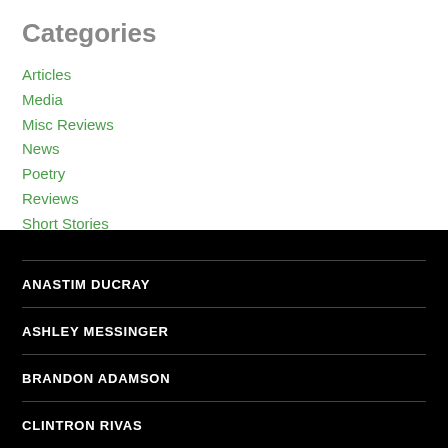Categories
Articles
Media
Misc Reviews
News
Poetry
Reviews
Short Stories
ANASTIM DUCRAY
ASHLEY MESSINGER
BRANDON ADAMSON
CLINTRON RIVAS
PAIGE MALAISE